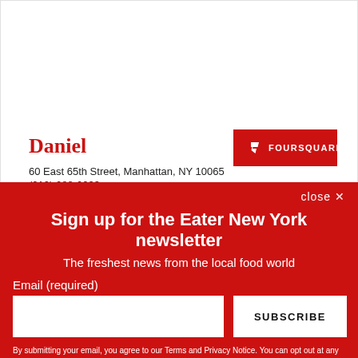Daniel
60 East 65th Street, Manhattan, NY 10065
(212) 288-0033
Visit Website
[Figure (logo): Foursquare button with Foursquare logo icon and text FOURSQUARE]
close ✕
Sign up for the Eater New York newsletter
The freshest news from the local food world
Email (required)
SUBSCRIBE
By submitting your email, you agree to our Terms and Privacy Notice. You can opt out at any time. This site is protected by reCAPTCHA and the Google Privacy Policy and Terms of Service apply.